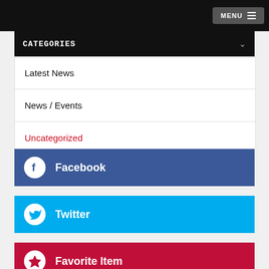MENU
CATEGORIES
Latest News
News / Events
Uncategorized
Facebook
Twitter
Favorite Item